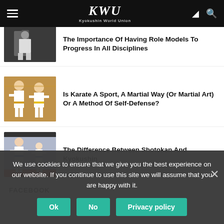KWU Kyokushin World Union
[Figure (photo): Karate practitioner in white gi standing pose, dark background]
The Importance Of Having Role Models To Progress In All Disciplines
[Figure (photo): Two children in white karate gi practicing in a dojo, one with yellow belt]
Is Karate A Sport, A Martial Way (Or Martial Art) Or A Method Of Self-Defense?
[Figure (photo): Two young boys in white karate gi with blue belts sparring on a mat]
The Difference Between Shotokan And Kyokushin
FACEBOOK
We use cookies to ensure that we give you the best experience on our website. If you continue to use this site we will assume that you are happy with it.
Ok
No
Privacy policy